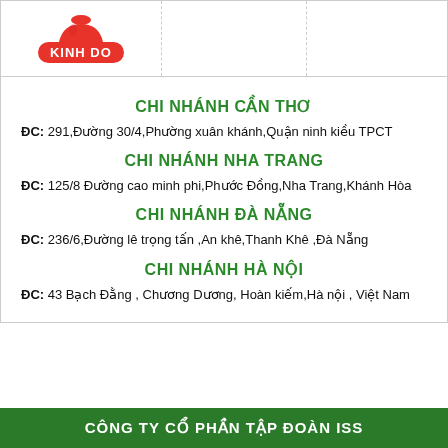[Figure (logo): Kinh Do logo with red bell shape on top and red rounded rectangle with white text 'KINH DO']
CHI NHÁNH CẦN THƠ
ĐC: 291,Đường 30/4,Phường xuân khánh,Quận ninh kiều TPCT
CHI NHÁNH NHA TRANG
ĐC: 125/8 Đường cao minh phi,Phước Đồng,Nha Trang,Khánh Hòa
CHI NHÁNH ĐÀ NẴNG
ĐC: 236/6,Đường lê trọng tấn ,An khê,Thanh Khê ,Đà Nẵng
CHI NHÁNH HÀ NỘI
ĐC: 43 Bạch Đằng , Chương Dương, Hoàn kiếm,Hà nội , Việt Nam
CÔNG TY CỔ PHẦN TẬP ĐOÀN ISS